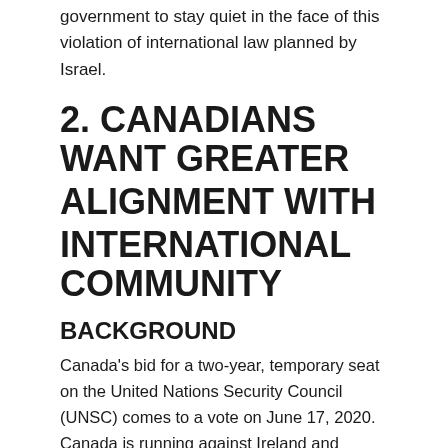government to stay quiet in the face of this violation of international law planned by Israel.
2. CANADIANS WANT GREATER ALIGNMENT WITH INTERNATIONAL COMMUNITY
BACKGROUND
Canada's bid for a two-year, temporary seat on the United Nations Security Council (UNSC) comes to a vote on June 17, 2020. Canada is running against Ireland and Norway. Trudeau announced Canada's